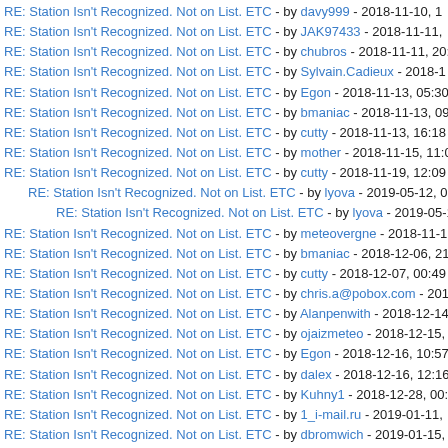RE: Station Isn't Recognized. Not on List. ETC - by davy999 - 2018-11-10, 1
RE: Station Isn't Recognized. Not on List. ETC - by JAK97433 - 2018-11-11, ...
RE: Station Isn't Recognized. Not on List. ETC - by chubros - 2018-11-11, 20:
RE: Station Isn't Recognized. Not on List. ETC - by Sylvain.Cadieux - 2018-1
RE: Station Isn't Recognized. Not on List. ETC - by Egon - 2018-11-13, 05:30
RE: Station Isn't Recognized. Not on List. ETC - by bmaniac - 2018-11-13, 09
RE: Station Isn't Recognized. Not on List. ETC - by cutty - 2018-11-13, 16:18
RE: Station Isn't Recognized. Not on List. ETC - by mother - 2018-11-15, 11:0
RE: Station Isn't Recognized. Not on List. ETC - by cutty - 2018-11-19, 12:09
RE: Station Isn't Recognized. Not on List. ETC - by lyova - 2019-05-12, 05:
RE: Station Isn't Recognized. Not on List. ETC - by lyova - 2019-05-14, ...
RE: Station Isn't Recognized. Not on List. ETC - by meteovergne - 2018-11-1
RE: Station Isn't Recognized. Not on List. ETC - by bmaniac - 2018-12-06, 21
RE: Station Isn't Recognized. Not on List. ETC - by cutty - 2018-12-07, 00:49
RE: Station Isn't Recognized. Not on List. ETC - by chris.a@pobox.com - 201
RE: Station Isn't Recognized. Not on List. ETC - by Alanpenwith - 2018-12-14
RE: Station Isn't Recognized. Not on List. ETC - by ojaizmeteo - 2018-12-15,
RE: Station Isn't Recognized. Not on List. ETC - by Egon - 2018-12-16, 10:57
RE: Station Isn't Recognized. Not on List. ETC - by dalex - 2018-12-16, 12:16
RE: Station Isn't Recognized. Not on List. ETC - by Kuhny1 - 2018-12-28, 00:
RE: Station Isn't Recognized. Not on List. ETC - by 1_i-mail.ru - 2019-01-11,
RE: Station Isn't Recognized. Not on List. ETC - by dbromwich - 2019-01-15,
Station not on List - by dbromwich - 2019-01-23, 12:12
RE: Station not on List - by Egon - 2019-01-23, 15:20
RE: Station Isn't Recognized. Not on List. ETC - by AntonBurtsev - 2019-02-0